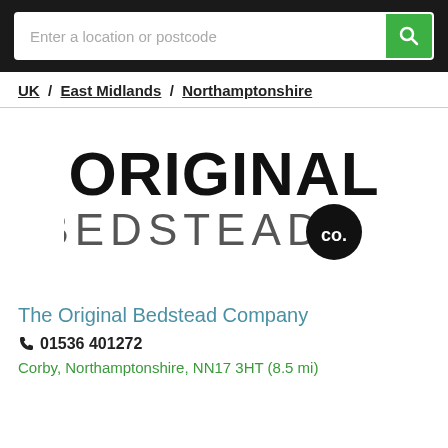[Figure (screenshot): Search bar with placeholder text 'Enter a location or postcode' and a green search button with magnifying glass icon, on a dark background]
UK / East Midlands / Northamptonshire
[Figure (logo): Original Bedstead Co. company logo — 'ORIGINAL' in large bold black uppercase letters, 'BEDSTEAD' in lighter grey spaced letters, and 'co.' in a black circle]
The Original Bedstead Company
01536 401272
Corby, Northamptonshire, NN17 3HT (8.5 mi)